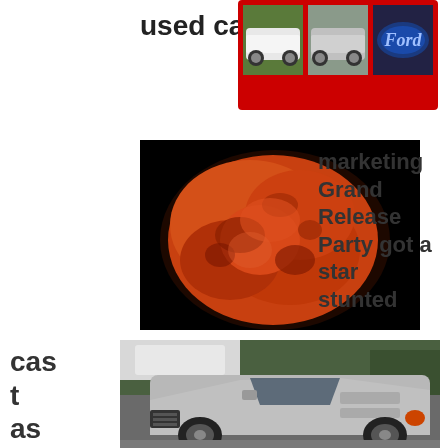used car
[Figure (photo): Collage of three car photos with red border: white sedan on grass, silver sedan, Ford logo badge]
[Figure (photo): Full blood moon (lunar eclipse) against black night sky - large orange-red moon]
marketing Grand Release Party got a star stunted
cast as new liv
[Figure (photo): Silver Corvette sports car parked in outdoor setting with trees in background]